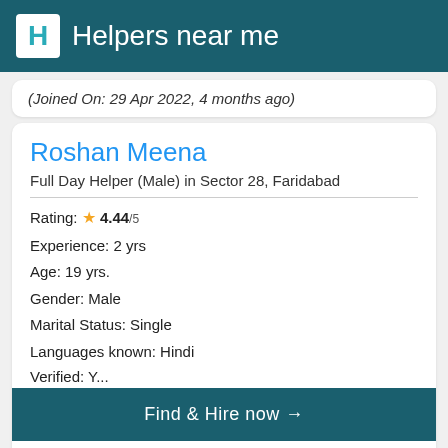Helpers near me
(Joined On: 29 Apr 2022, 4 months ago)
Roshan Meena
Full Day Helper (Male) in Sector 28, Faridabad
Rating: ★ 4.44/5
Experience: 2 yrs
Age: 19 yrs.
Gender: Male
Marital Status: Single
Languages known: Hindi
Find & Hire now →
Salary Expected: ₹15,000/-